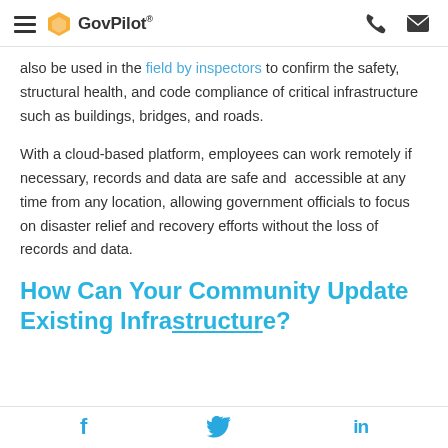GovPilot® [hamburger menu, phone icon, mail icon]
also be used in the field by inspectors to confirm the safety, structural health, and code compliance of critical infrastructure such as buildings, bridges, and roads.
With a cloud-based platform, employees can work remotely if necessary, records and data are safe and accessible at any time from any location, allowing government officials to focus on disaster relief and recovery efforts without the loss of records and data.
How Can Your Community Update Existing Infrastructure?
f  [Twitter bird]  in